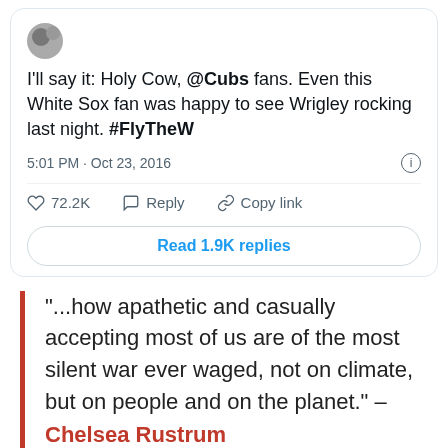[Figure (screenshot): Tweet screenshot with avatar icon, tweet text about Cubs and White Sox fans, timestamp, like count, reply and copy link actions, and Read 1.9K replies button]
"...how apathetic and casually accepting most of us are of the most silent war ever waged, not on climate, but on people and on the planet." – Chelsea Rustrum
Nobody is going to fix the world for us. You must be the Hero of your own story, be a champion for your own